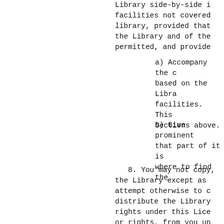Library side-by-side i facilities not covered library, provided that the Library and of the permitted, and provide
a) Accompany the c based on the Libra facilities.  This Sections above.
b) Give prominent that part of it is where to find the
8. You may not copy, the Library except as attempt otherwise to c distribute the Library rights under this Lice or rights, from you un terminated so long as
9. You are not requi signed it.  However, n distribute the Library prohibited by law if y modifying or distribut